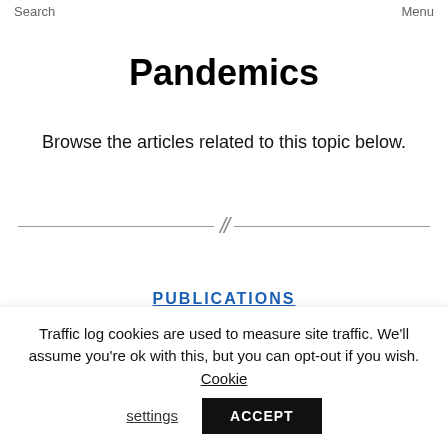Search    Menu
Pandemics
Browse the articles related to this topic below.
PUBLICATIONS
Traffic log cookies are used to measure site traffic. We'll assume you're ok with this, but you can opt-out if you wish.  Cookie settings  ACCEPT